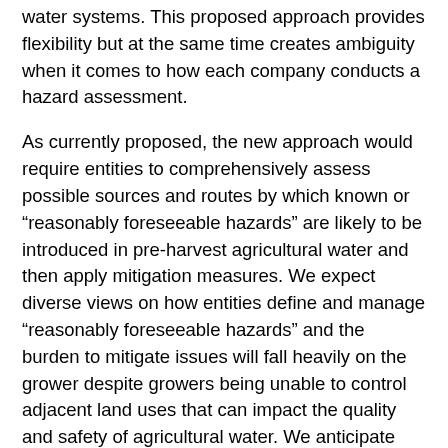water systems. This proposed approach provides flexibility but at the same time creates ambiguity when it comes to how each company conducts a hazard assessment.
As currently proposed, the new approach would require entities to comprehensively assess possible sources and routes by which known or “reasonably foreseeable hazards” are likely to be introduced in pre-harvest agricultural water and then apply mitigation measures. We expect diverse views on how entities define and manage “reasonably foreseeable hazards” and the burden to mitigate issues will fall heavily on the grower despite growers being unable to control adjacent land uses that can impact the quality and safety of agricultural water. We anticipate issues regarding what constitutes nearby areas, appropriate action(s), or mitigation measures that are not solely dependent on antimicrobial water treatments.
As the FDA moves towards a risk-based approach for managing agricultural water, we encourage the agency to work with federal,